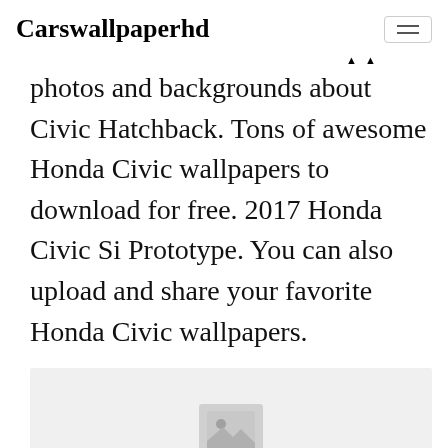Carswallpaperhd
photos and backgrounds about Civic Hatchback. Tons of awesome Honda Civic wallpapers to download for free. 2017 Honda Civic Si Prototype. You can also upload and share your favorite Honda Civic wallpapers.
[Figure (photo): Loading image placeholder with mountain/image icon and 'Loading..' text]